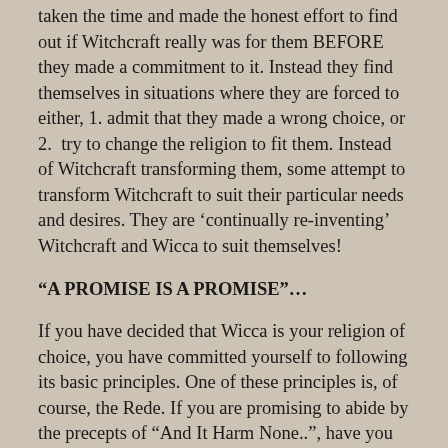taken the time and made the honest effort to find out if Witchcraft really was for them BEFORE they made a commitment to it. Instead they find themselves in situations where they are forced to either, 1. admit that they made a wrong choice, or 2. try to change the religion to fit them. Instead of Witchcraft transforming them, some attempt to transform Witchcraft to suit their particular needs and desires. They are 'continually re-inventing' Witchcraft and Wicca to suit themselves!
“A PROMISE IS A PROMISE”…
If you have decided that Wicca is your religion of choice, you have committed yourself to following its basic principles. One of these principles is, of course, the Rede. If you are promising to abide by the precepts of “And It Harm None..”, have you worked out what you would do if someone attacked you? Attacked your child? Does “harm none” mean you should become a vegetarian? Do you think